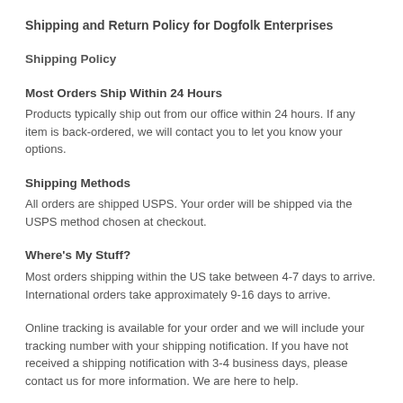Shipping and Return Policy for Dogfolk Enterprises
Shipping Policy
Most Orders Ship Within 24 Hours
Products typically ship out from our office within 24 hours. If any item is back-ordered, we will contact you to let you know your options.
Shipping Methods
All orders are shipped USPS. Your order will be shipped via the USPS method chosen at checkout.
Where's My Stuff?
Most orders shipping within the US take between 4-7 days to arrive. International orders take approximately 9-16 days to arrive.
Online tracking is available for your order and we will include your tracking number with your shipping notification. If you have not received a shipping notification with 3-4 business days, please contact us for more information. We are here to help.